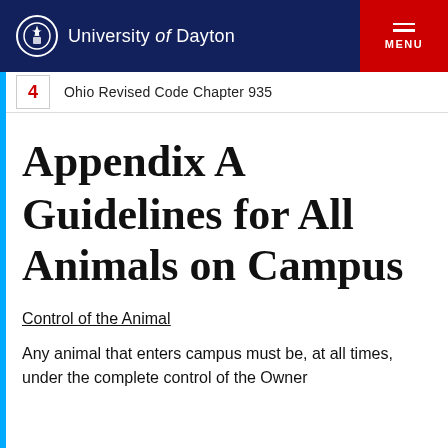University of Dayton
4   Ohio Revised Code Chapter 935
Appendix A
Guidelines for All Animals on Campus
Control of the Animal
Any animal that enters campus must be, at all times, under the complete control of the Owner